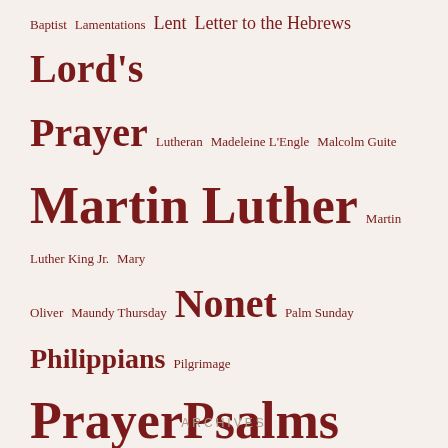[Figure (infographic): Tag cloud of religious/theological topics in varying font sizes indicating frequency or importance. Topics include: Baptist, Lamentations, Lent, Letter to the Hebrews, Lord's Prayer, Lutheran, Madeleine L'Engle, Malcolm Guite, Martin Luther, Martin Luther King Jr., Mary Oliver, Maundy Thursday, Nonet, Palm Sunday, Philippians, Pilgrimage, Prayer, Psalms, Racial Reconciliation, Reformation, Resurrection, Romans, Running, Scripture, Seven Last Words, Sonnets, The Imitation of Christ, Thomas Merton, Transfiguration, Vespers, Walking, Wendell Berry, Worship]
ARCHIVES